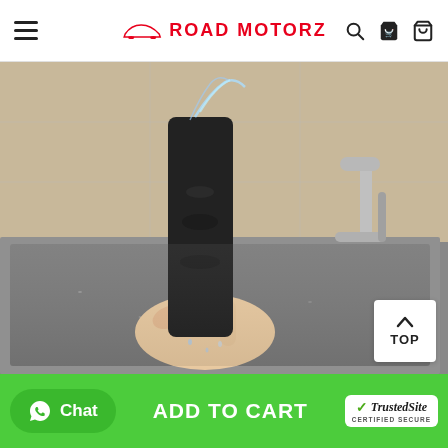Road Motorz
[Figure (photo): A hand holding a black item (rubber or brush product) under running water from a kitchen faucet over a stainless steel sink. Water is splashing, demonstrating the product is washable/waterproof.]
TOP
Chat | ADD TO CART | TrustedSite CERTIFIED SECURE